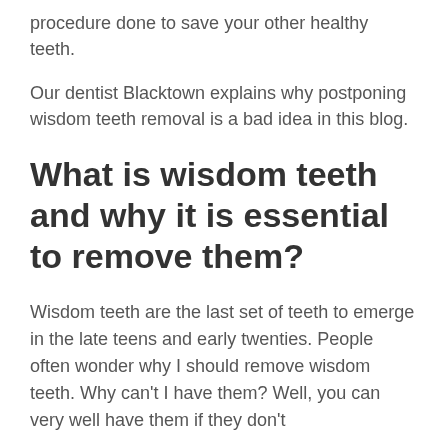procedure done to save your other healthy teeth.
Our dentist Blacktown explains why postponing wisdom teeth removal is a bad idea in this blog.
What is wisdom teeth and why it is essential to remove them?
Wisdom teeth are the last set of teeth to emerge in the late teens and early twenties. People often wonder why I should remove wisdom teeth. Why can't I have them? Well, you can very well have them if they don't